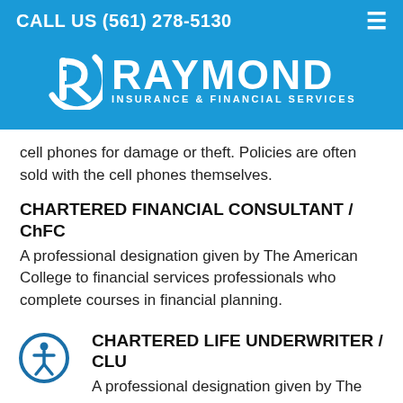CALL US (561) 278-5130
[Figure (logo): Raymond Insurance & Financial Services logo with stylized R icon in white on blue background]
cell phones for damage or theft. Policies are often sold with the cell phones themselves.
CHARTERED FINANCIAL CONSULTANT / ChFC
A professional designation given by The American College to financial services professionals who complete courses in financial planning.
[Figure (illustration): Accessibility icon: person in circle with blue outline]
CHARTERED LIFE UNDERWRITER / CLU
A professional designation given by The...